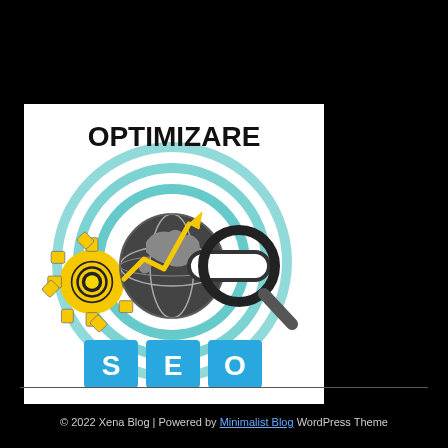[Figure (illustration): SEO optimization graphic with text 'OPTIMIZARE' at top in bold black, teal concentric wifi-like rings in background, a yellow gear, a globe/earth, a yellow lightning bolt chart arrow indicating growth, a magnifying glass with a search bar, and blue 'SEO' text blocks at the bottom on a white background.]
© 2022 Xena Blog | Powered by Minimalist Blog WordPress Theme